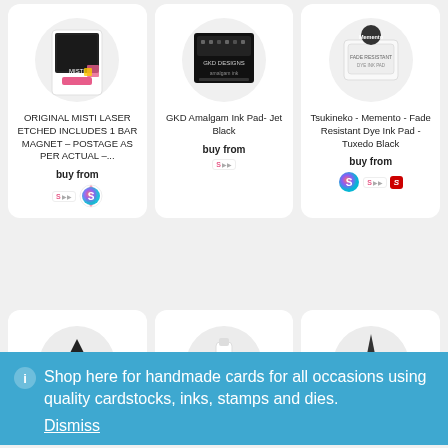[Figure (screenshot): Product card: ORIGINAL MISTI LASER ETCHED INCLUDES 1 BAR MAGNET – POSTAGE AS PER ACTUAL –... with buy from logos]
[Figure (screenshot): Product card: GKD Amalgam Ink Pad- Jet Black with buy from logos]
[Figure (screenshot): Product card: Tsukineko - Memento - Fade Resistant Dye Ink Pad - Tuxedo Black with buy from logos]
[Figure (screenshot): Partially visible product cards row (middle)]
Shop here for handmade cards for all occasions using quality cardstocks, inks, stamps and dies.
Dismiss
[Figure (screenshot): Partially visible bottom product cards: Pad – Krafters Cart, Watermark Ink – Krafters Cart, Designer Dies Clear 2oz – Krafters Cart]